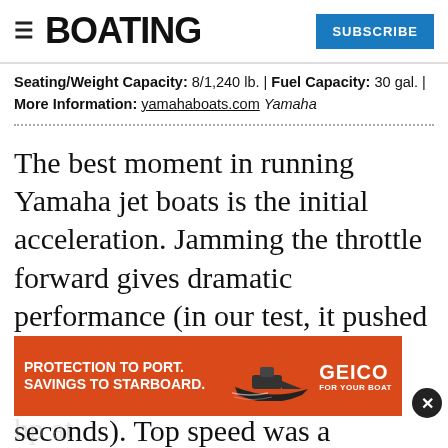BOATING | SUBSCRIBE
Seating/Weight Capacity: 8/1,240 lb. | Fuel Capacity: 30 gal. | More Information: yamahaboats.com Yamaha
The best moment in running Yamaha jet boats is the initial acceleration. Jamming the throttle forward gives dramatic performance (in our test, it pushed the boat to planing speed in 2.5 seconds and hit 30 mph in 5.6 seconds). Top speed was a satisfying 52.4 mph — and this was all on a sin... In fact, our powerful tester got 315 hp at
[Figure (infographic): GEICO advertisement banner: orange background with text 'PROTECTION TO PORT. SAVINGS TO STARBOARD.' and GEICO FOR YOUR BOAT logo with boat graphic]